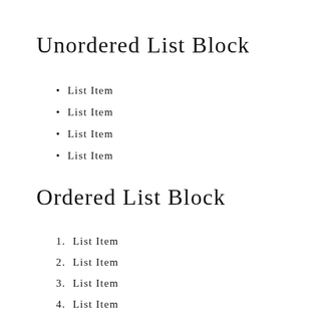Unordered List Block
List Item
List Item
List Item
List Item
Ordered List Block
List Item
List Item
List Item
List Item